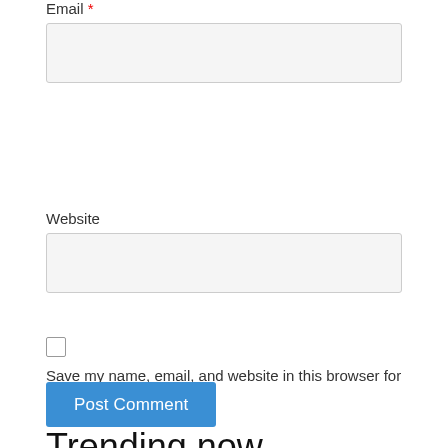Email *
Website
Save my name, email, and website in this browser for the next time I comment.
Post Comment
Trending now